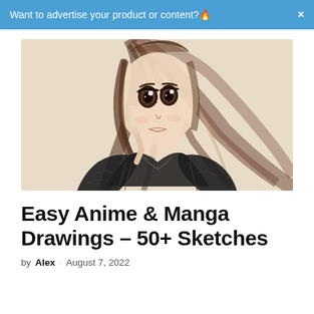Want to advertise your product or content?🔥  ×
[Figure (illustration): Pencil sketch of an anime/manga girl with long flowing dark hair, large expressive eyes, wearing a dark oversized jacket, drawn in detailed monochrome sketch style on a warm beige background.]
Easy Anime & Manga Drawings – 50+ Sketches
by Alex · August 7, 2022